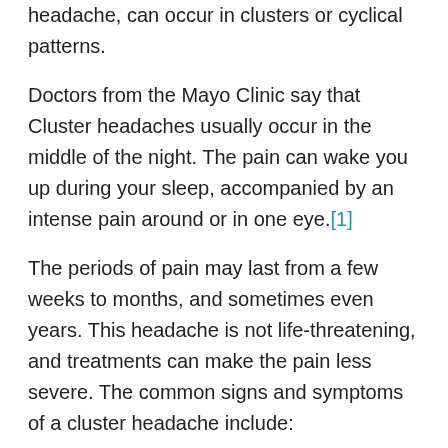headache, can occur in clusters or cyclical patterns.
Doctors from the Mayo Clinic say that Cluster headaches usually occur in the middle of the night. The pain can wake you up during your sleep, accompanied by an intense pain around or in one eye.[1]
The periods of pain may last from a few weeks to months, and sometimes even years. This headache is not life-threatening, and treatments can make the pain less severe. The common signs and symptoms of a cluster headache include:
Intense pain in or around one eye
Pain radiating to face, neck, and shoulders